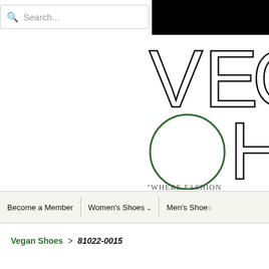Search...
[Figure (logo): Partial logo showing letters 'VEG' (top row, black thin font) and 'CH' (bottom row, with large green circle C and black H), with tagline "WHERE FASHION" partially visible]
Become a Member  |  Women's Shoes v  |  Men's Shoes
Vegan Shoes > 81022-0015